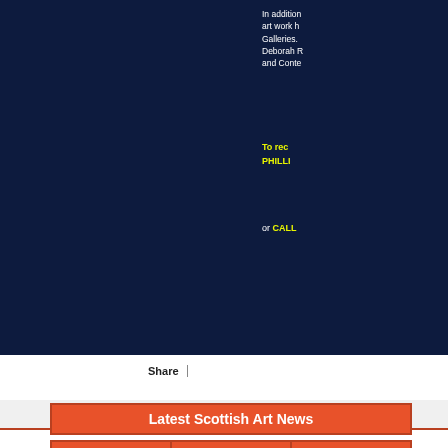In addition, art work h Galleries. Deborah R and Conte
To rec PHILLI
or CALL
Share
Latest Scottish Art News
Out of the Ashes
02 February 2017
Glasgow School of Art Some of the biggest names in British art are helping to raise
Scottish Exhibition
01 July 2021
Our annual Scottish exhibition opens at Red Rag Gallery in Stow on the Wold
New Scottish artist at Red Rag Gallery in Stow and Bath
01 May 2021
We are delighted to announce that Joan